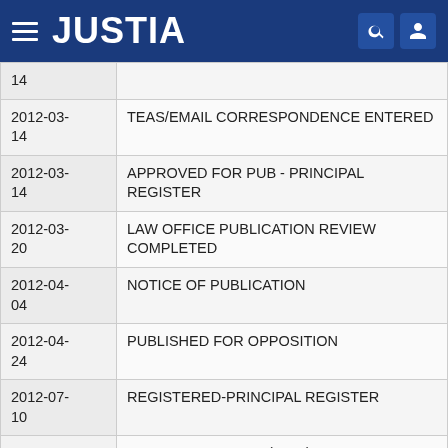JUSTIA
| Date | Event |
| --- | --- |
| 2012-03-
14 |  |
| 2012-03-
14 | TEAS/EMAIL CORRESPONDENCE ENTERED |
| 2012-03-
14 | APPROVED FOR PUB - PRINCIPAL REGISTER |
| 2012-03-
20 | LAW OFFICE PUBLICATION REVIEW COMPLETED |
| 2012-04-
04 | NOTICE OF PUBLICATION |
| 2012-04-
24 | PUBLISHED FOR OPPOSITION |
| 2012-07-
10 | REGISTERED-PRINCIPAL REGISTER |
| 2019-02- | CANCELLED SEC. 8 (6-YR) |